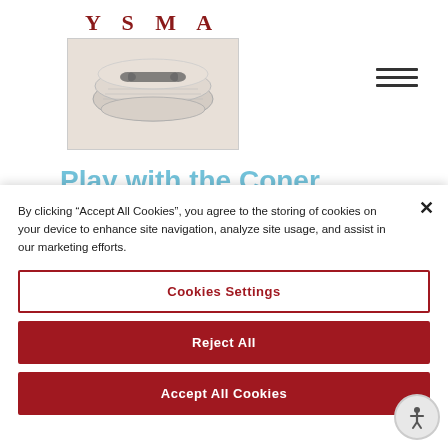[Figure (logo): YSMA logo with rolled scrolls/documents image and text 'YSMA' in red serif letters above]
Play with the Coner.
By clicking "Accept All Cookies", you agree to the storing of cookies on your device to enhance site navigation, analyze site usage, and assist in our marketing efforts.
Cookies Settings
Reject All
Accept All Cookies